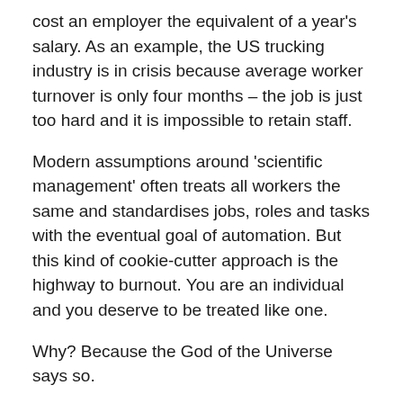cost an employer the equivalent of a year's salary. As an example, the US trucking industry is in crisis because average worker turnover is only four months – the job is just too hard and it is impossible to retain staff.
Modern assumptions around 'scientific management' often treats all workers the same and standardises jobs, roles and tasks with the eventual goal of automation. But this kind of cookie-cutter approach is the highway to burnout. You are an individual and you deserve to be treated like one.
Why? Because the God of the Universe says so.
The Bible Condemns Exploitative Bosses